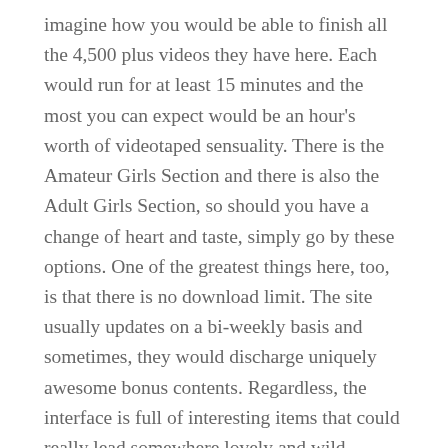imagine how you would be able to finish all the 4,500 plus videos they have here. Each would run for at least 15 minutes and the most you can expect would be an hour's worth of videotaped sensuality. There is the Amateur Girls Section and there is also the Adult Girls Section, so should you have a change of heart and taste, simply go by these options. One of the greatest things here, too, is that there is no download limit. The site usually updates on a bi-weekly basis and sometimes, they would discharge uniquely awesome bonus contents. Regardless, the interface is full of interesting items that could really lead somewhere lovely and wild.
High quality videos, fresh and elegant models,